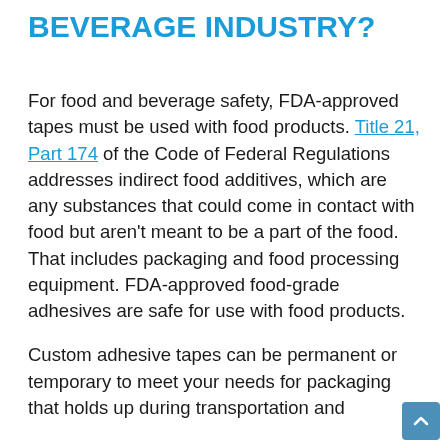BEVERAGE INDUSTRY?
For food and beverage safety, FDA-approved tapes must be used with food products. Title 21, Part 174 of the Code of Federal Regulations addresses indirect food additives, which are any substances that could come in contact with food but aren't meant to be a part of the food. That includes packaging and food processing equipment. FDA-approved food-grade adhesives are safe for use with food products.
Custom adhesive tapes can be permanent or temporary to meet your needs for packaging that holds up during transportation and